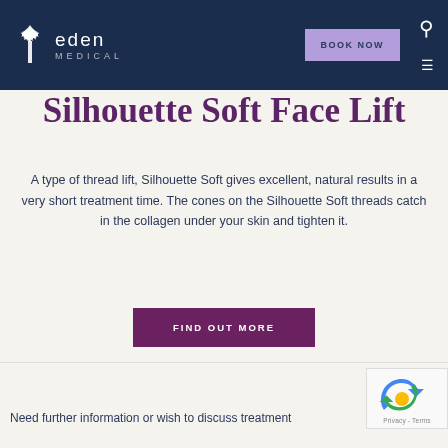eden MEDICAL | BOOK NOW
Silhouette Soft Face Lift
A type of thread lift, Silhouette Soft gives excellent, natural results in a very short treatment time. The cones on the Silhouette Soft threads catch in the collagen under your skin and tighten it.
FIND OUT MORE
Need further information or wish to discuss treatment